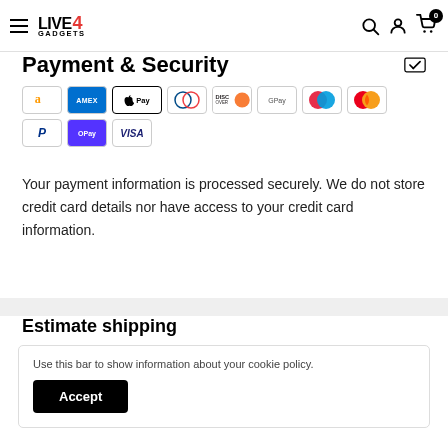Live4Gadgets — navigation bar with logo, search, account, and cart icons
Payment & Security
[Figure (other): Payment method icons: Amazon Pay, Amex, Apple Pay, Diners, Discover, Google Pay, Maestro, Mastercard, PayPal, OPay, Visa]
Your payment information is processed securely. We do not store credit card details nor have access to your credit card information.
Estimate shipping
Use this bar to show information about your cookie policy.
Accept